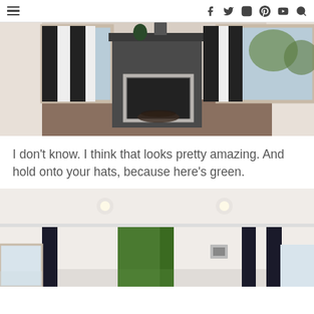Navigation and social icons header
[Figure (photo): Interior room with dark fireplace and black-and-white striped curtains, bare concrete floor, windows with view outside]
I don't know. I think that looks pretty amazing. And hold onto your hats, because here's green.
[Figure (photo): Interior room with green curtains/panels, recessed lighting, white walls and floors, windows]